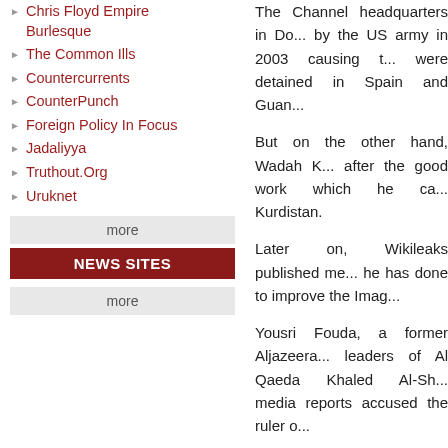Chris Floyd Empire Burlesque
The Common Ills
Countercurrents
CounterPunch
Foreign Policy In Focus
Jadaliyya
Truthout.Org
Uruknet
more
NEWS SITES
more
The Channel headquarters in Do... by the US army in 2003 causing t... were detained in Spain and Guan...
But on the other hand, Wadah K... after the good work which he ca... Kurdistan.
Later on, Wikileaks published me... he has done to improve the Imag...
Yousri Fouda, a former Aljazeera... leaders of Al Qaeda Khaled Al-Sh... media reports accused the ruler o...
This political schizophrenia is not... a good example of the cohabitatio...
In an interview with the Saudi Ch... to Al Qaida and predicted future... met Najeeb once in a meeting... Egyptian Tanzeem Al Jihad (whi... Jihadi source that this meeting wa...